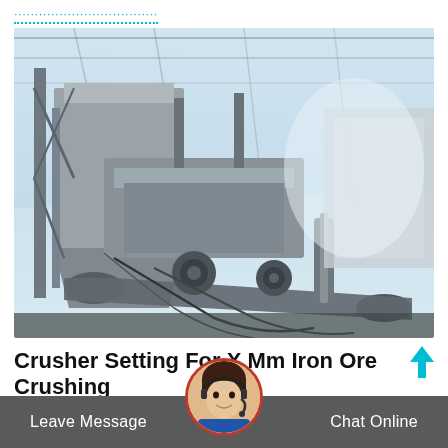....................................
[Figure (photo): Industrial crushing machinery inside a large steel-framed warehouse/factory building. Heavy equipment with conveyors, hoppers, and structural steel framework visible.]
Crusher Setting For X Mm Iron Ore Crushing
due to its notorious microga... ore reducing the availability and crushing operation followed by feed preparation